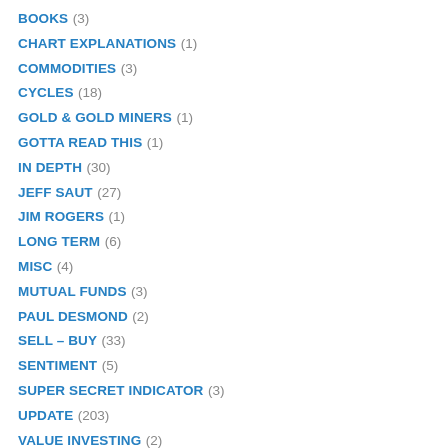BOOKS (3)
CHART EXPLANATIONS (1)
COMMODITIES (3)
CYCLES (18)
GOLD & GOLD MINERS (1)
GOTTA READ THIS (1)
IN DEPTH (30)
JEFF SAUT (27)
JIM ROGERS (1)
LONG TERM (6)
MISC (4)
MUTUAL FUNDS (3)
PAUL DESMOND (2)
SELL – BUY (33)
SENTIMENT (5)
SUPER SECRET INDICATOR (3)
UPDATE (203)
VALUE INVESTING (2)
VIDEO (3)
WARNING (3)